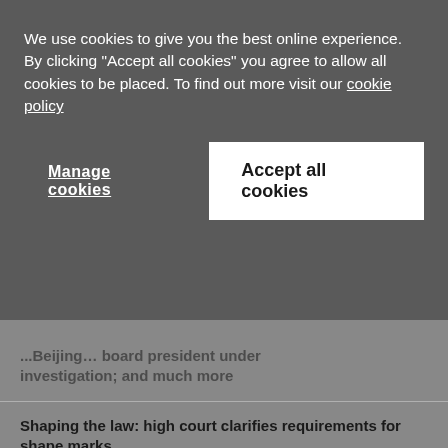We use cookies to give you the best online experience. By clicking "Accept all cookies" you agree to allow all cookies to be placed. To find out more visit our cookie policy
Manage cookies
Accept all cookies
investigation; and much more
Shaping the law: high court clarifies requirements for shape marks
More WTR award winner exclusives; Indian dispute initiative; Maradona in the metaverse; and much more
Is it possible to register country names as